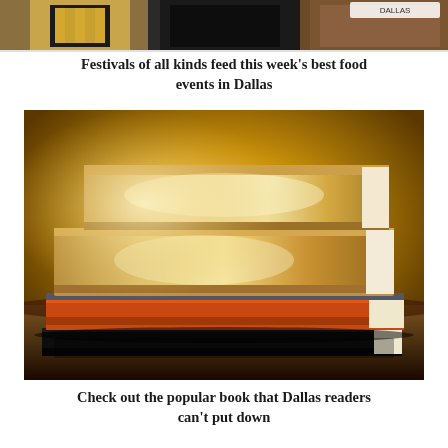[Figure (photo): Partial photo of people in traditional/festival costumes, cropped at top of page]
Festivals of all kinds feed this week's best food events in Dallas
[Figure (photo): Stack of large hardcover books with golden/warm toned background, books arranged in a pile on a dark surface]
Check out the popular book that Dallas readers can't put down